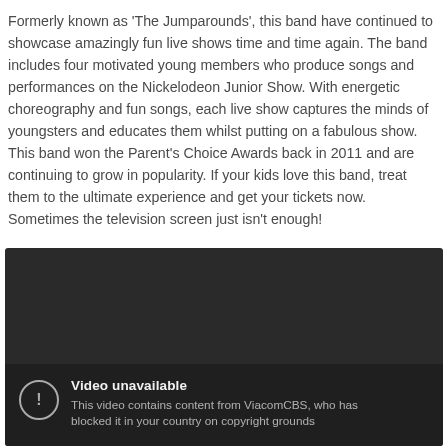Formerly known as 'The Jumparounds', this band have continued to showcase amazingly fun live shows time and time again. The band includes four motivated young members who produce songs and performances on the Nickelodeon Junior Show. With energetic choreography and fun songs, each live show captures the minds of youngsters and educates them whilst putting on a fabulous show. This band won the Parent's Choice Awards back in 2011 and are continuing to grow in popularity. If your kids love this band, treat them to the ultimate experience and get your tickets now. Sometimes the television screen just isn't enough!
[Figure (screenshot): A video player showing a 'Video unavailable' error message. The background is dark/black. An icon with an exclamation mark in a circle is shown on the left. The text reads: 'Video unavailable' and 'This video contains content from ViacomCBS, who has blocked it in your country on copyright grounds'.]